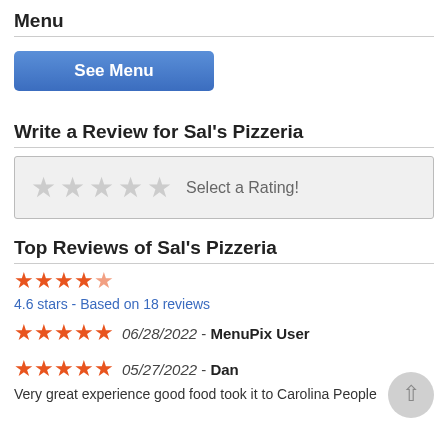Menu
See Menu
Write a Review for Sal's Pizzeria
Select a Rating!
Top Reviews of Sal's Pizzeria
4.6 stars - Based on 18 reviews
06/28/2022 - MenuPix User
05/27/2022 - Dan
Very great experience good food took it to Carolina People